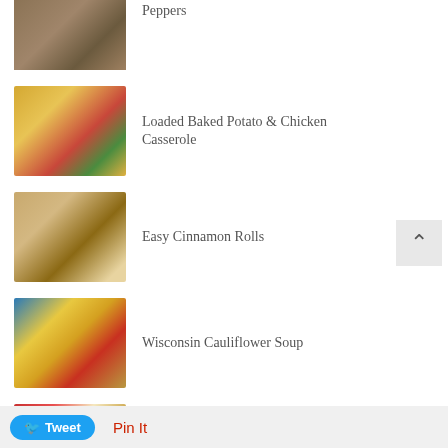...Peppers
Loaded Baked Potato & Chicken Casserole
Easy Cinnamon Rolls
Wisconsin Cauliflower Soup
Nutella French Toast with Strawberries
White Chocolate Peanut Butter Krispies
Pin It